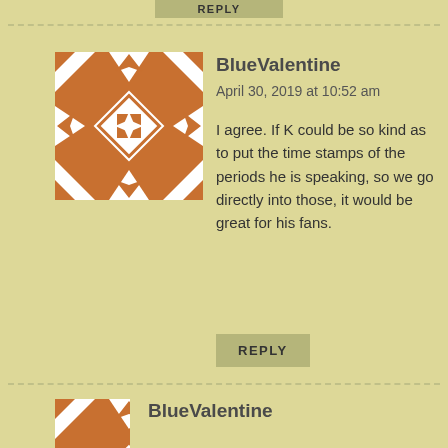REPLY
BlueValentine
April 30, 2019 at 10:52 am
I agree. If K could be so kind as to put the time stamps of the periods he is speaking, so we go directly into those, it would be great for his fans.
REPLY
BlueValentine